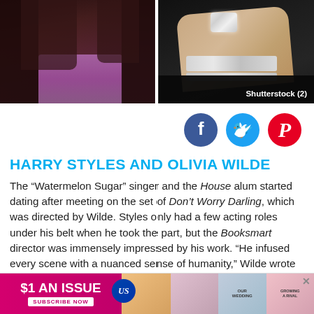[Figure (photo): Two side-by-side celebrity photos divided by a white vertical line. Left photo shows a person in a dark coat with purple/mauve sweater visible underneath. Right photo shows a close-up of a hand wearing a large diamond ring and bracelet against dark clothing.]
Shutterstock (2)
[Figure (illustration): Social sharing buttons: Facebook (blue circle with f), Twitter (cyan circle with bird), Pinterest (red circle with P)]
HARRY STYLES AND OLIVIA WILDE
The “Watermelon Sugar” singer and the House alum started dating after meeting on the set of Don’t Worry Darling, which was directed by Wilde. Styles only had a few acting roles under his belt when he took the part, but the Booksmart director was immensely impressed by his work. “He infused every scene with a nuanced sense of humanity,” Wilde wrote via Instagram in February 2021 after filming wrapped. “He didn’t have to join our circus, but
[Figure (infographic): Advertisement banner: '$1 AN ISSUE' in white text on pink/magenta background with 'SUBSCRIBE NOW' button, alongside magazine cover images on the right side. X close button in top right corner.]